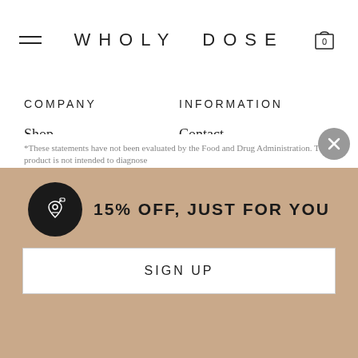WHOLY DOSE
COMPANY
Shop
Ingredients
Results
Story
Blog
Press
INFORMATION
Contact
FAQ
Shipping & Returns
Account
Careers
Store Locator
*These statements have not been evaluated by the Food and Drug Administration. This product is not intended to diagnose
15% OFF, JUST FOR YOU
SIGN UP